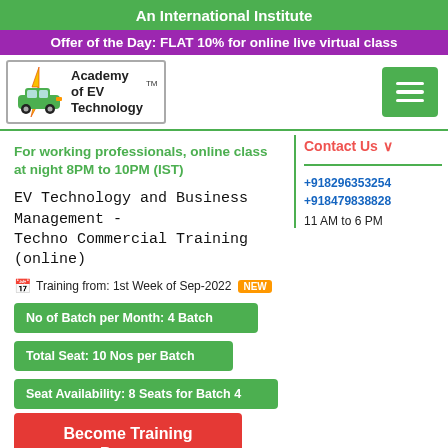An International Institute
Offer of the Day: FLAT 10% for online live virtual class
[Figure (logo): Academy of EV Technology logo with car icon and AEVT text]
For working professionals, online class at night 8PM to 10PM (IST)
EV Technology and Business Management - Techno Commercial Training (online)
Training from: 1st Week of Sep-2022 NEW
No of Batch per Month: 4 Batch
Total Seat: 10 Nos per Batch
Seat Availability: 8 Seats for Batch 4
Become Training Partner
Submit Registration
Contact Us
+918296353254
+918479838828
11 AM to 6 PM